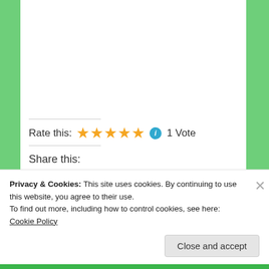Rate this: ★★★★★ ℹ 1 Vote
Share this:
Reddit  Telegram  Twitter  Facebook  Email  LinkedIn  Tumblr  Print  Pinterest  Pocket  WhatsApp  Skype
Loading...
Privacy & Cookies: This site uses cookies. By continuing to use this website, you agree to their use.
To find out more, including how to control cookies, see here: Cookie Policy
Close and accept